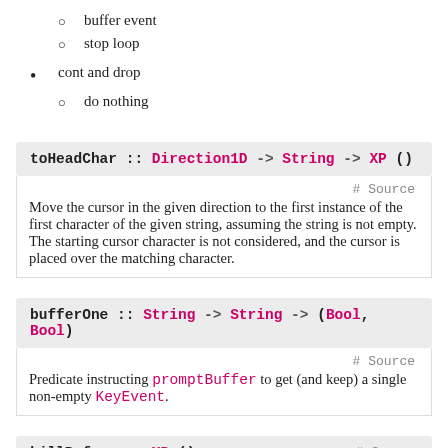buffer event
stop loop
cont and drop
do nothing
toHeadChar :: Direction1D -> String -> XP ()
# Source
Move the cursor in the given direction to the first instance of the first character of the given string, assuming the string is not empty. The starting cursor character is not considered, and the cursor is placed over the matching character.
bufferOne :: String -> String -> (Bool, Bool)
# Source
Predicate instructing promptBuffer to get (and keep) a single non-empty KeyEvent.
killBefore :: XP ()
# Source